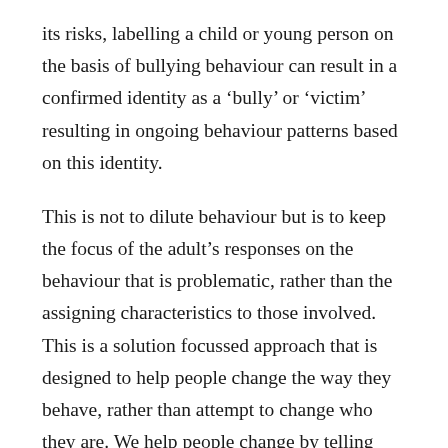its risks, labelling a child or young person on the basis of bullying behaviour can result in a confirmed identity as a ‘bully’ or ‘victim’ resulting in ongoing behaviour patterns based on this identity.
This is not to dilute behaviour but is to keep the focus of the adult’s responses on the behaviour that is problematic, rather than the assigning characteristics to those involved. This is a solution focussed approach that is designed to help people change the way they behave, rather than attempt to change who they are. We help people change by telling them the behaviour that is unacceptable, being clear that what they are doing is bullying and that it needs to stop.